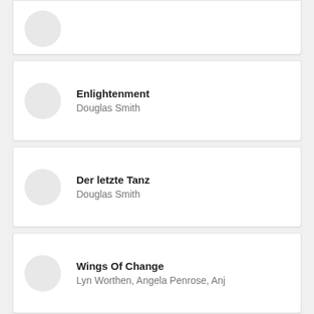(partial card top)
Enlightenment — Douglas Smith
Der letzte Tanz — Douglas Smith
Wings Of Change — Lyn Worthen, Angela Penrose, Anj
Street Magic — Lyn Worthen, C.E. Barnes, Danielle